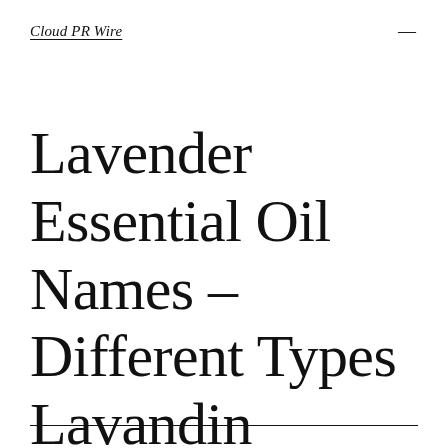Cloud PR Wire
Lavender Essential Oil Names – Different Types Lavandin French Spike Variations